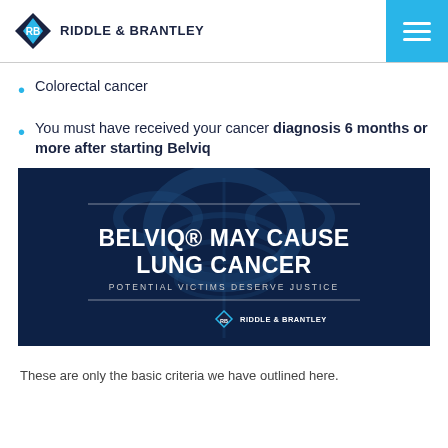Riddle & Brantley
Colorectal cancer
You must have received your cancer diagnosis 6 months or more after starting Belviq
[Figure (infographic): Dark navy blue infographic with an x-ray image of a human torso in the background. Text reads: BELVIQ® MAY CAUSE LUNG CANCER / POTENTIAL VICTIMS DESERVE JUSTICE. Riddle & Brantley logo at the bottom.]
These are only the basic criteria we have outlined here.